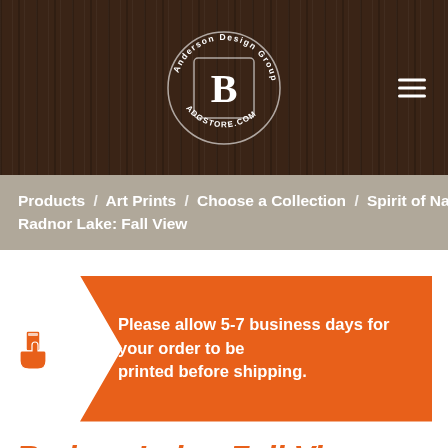[Figure (logo): Anderson Design Group logo — circular badge with stylized 'B' letterform inside a square, surrounded by circular text reading 'Anderson Design Group' and 'ADCSTORE.COM', white on dark brown wood-grain background]
Products / Art Prints / Choose a Collection / Spirit of Nashville / Radnor Lake: Fall View
Please allow 5-7 business days for your order to be printed before shipping.
Radnor Lake: Fall View
By Aaron Johnson, Joel Anderson, 2017